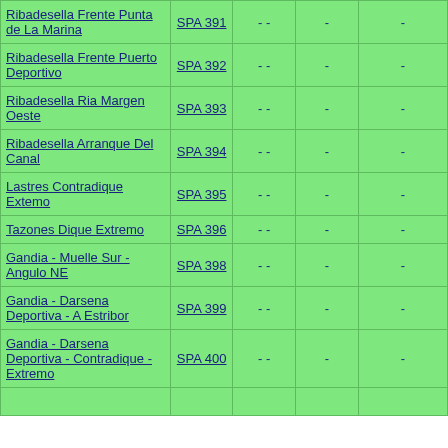| Location | Code | Col3 | Col4 | Col5 |
| --- | --- | --- | --- | --- |
| Ribadesella Frente Punta de La Marina | SPA 391 | - - | - | - |
| Ribadesella Frente Puerto Deportivo | SPA 392 | - - | - | - |
| Ribadesella Ria Margen Oeste | SPA 393 | - - | - | - |
| Ribadesella Arranque Del Canal | SPA 394 | - - | - | - |
| Lastres Contradique Extemo | SPA 395 | - - | - | - |
| Tazones Dique Extremo | SPA 396 | - - | - | - |
| Gandia - Muelle Sur - Angulo NE | SPA 398 | - - | - | - |
| Gandia - Darsena Deportiva - A Estribor | SPA 399 | - - | - | - |
| Gandia - Darsena Deportiva - Contradique - Extremo | SPA 400 | - - | - | - |
| ... |  |  |  |  |